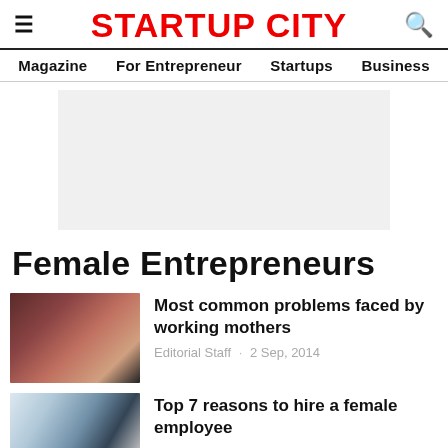STARTUP CITY
Magazine  For Entrepreneur  Startups  Business
[Figure (other): Advertisement placeholder box, light gray background]
Female Entrepreneurs
[Figure (photo): Close-up photo of a mother and child]
Most common problems faced by working mothers
Editorial Staff · 2 Sep, 2014
[Figure (photo): Business meeting with group of professionals, woman standing in center]
Top 7 reasons to hire a female employee
Editorial Staff · 10 Sep, 2014